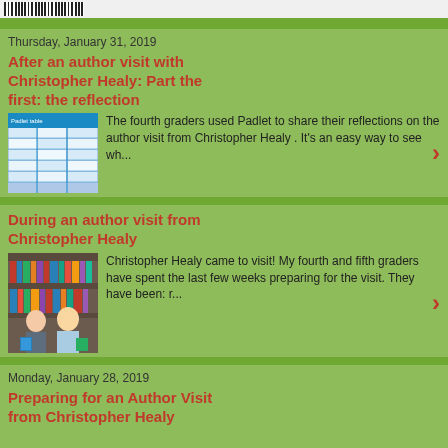[Figure (other): Barcode image in top bar]
Thursday, January 31, 2019
After an author visit with Christopher Healy: Part the first: the reflection
[Figure (screenshot): Padlet screenshot showing a blue table/grid]
The fourth graders used Padlet to share their reflections on the author visit from Christopher Healy . It's an easy way to see wh...
During an author visit from Christopher Healy
[Figure (photo): Photo of two people (Christopher Healy and another person) standing in front of bookshelves holding books]
Christopher Healy came to visit! My fourth and fifth graders have spent the last few weeks preparing for the visit. They have been: r...
Monday, January 28, 2019
Preparing for an Author Visit from Christopher Healy